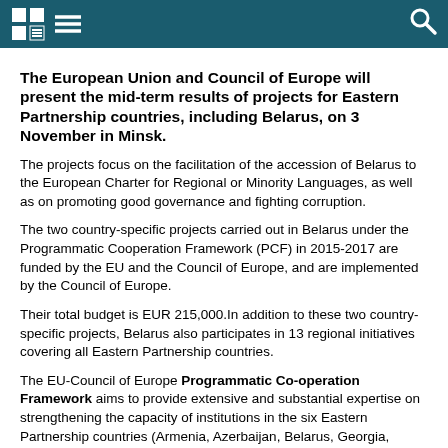[Navigation bar with logo, menu icon, and search icon]
The European Union and Council of Europe will present the mid-term results of projects for Eastern Partnership countries, including Belarus, on 3 November in Minsk.
The projects focus on the facilitation of the accession of Belarus to the European Charter for Regional or Minority Languages, as well as on promoting good governance and fighting corruption.
The two country-specific projects carried out in Belarus under the Programmatic Cooperation Framework (PCF) in 2015-2017 are funded by the EU and the Council of Europe, and are implemented by the Council of Europe.
Their total budget is EUR 215,000.In addition to these two country-specific projects, Belarus also participates in 13 regional initiatives covering all Eastern Partnership countries.
The EU-Council of Europe Programmatic Co-operation Framework aims to provide extensive and substantial expertise on strengthening the capacity of institutions in the six Eastern Partnership countries (Armenia, Azerbaijan, Belarus, Georgia,